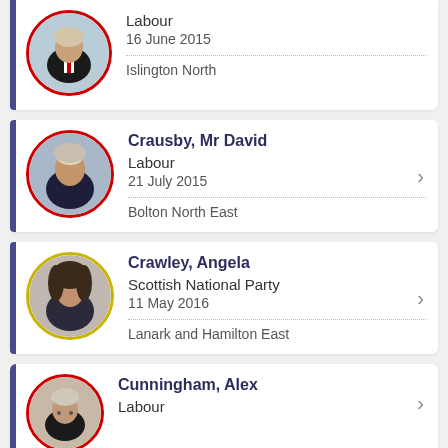Labour
16 June 2015
Islington North
Crausby, Mr David
Labour
21 July 2015
Bolton North East
Crawley, Angela
Scottish National Party
11 May 2016
Lanark and Hamilton East
Cunningham, Alex
Labour